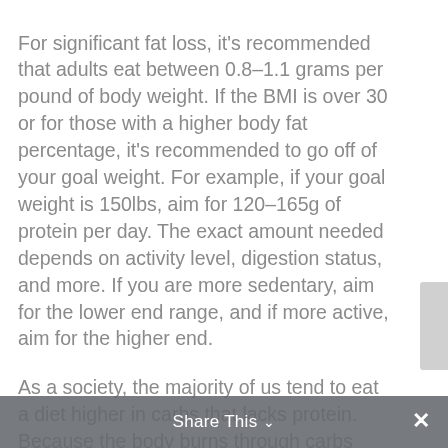For significant fat loss, it's recommended that adults eat between 0.8–1.1 grams per pound of body weight. If the BMI is over 30 or for those with a higher body fat percentage, it's recommended to go off of your goal weight. For example, if your goal weight is 150lbs, aim for 120–165g of protein per day. The exact amount needed depends on activity level, digestion status, and more. If you are more sedentary, aim for the lower end range, and if more active, aim for the higher end.
As a society, the majority of us tend to eat a diet higher in carbs that lacks protein. Because the body burns through carbs quickly, this causes us to experience more
Share This ∨